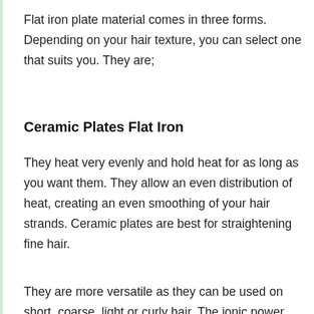Flat iron plate material comes in three forms. Depending on your hair texture, you can select one that suits you. They are;
Ceramic Plates Flat Iron
They heat very evenly and hold heat for as long as you want them. They allow an even distribution of heat, creating an even smoothing of your hair strands. Ceramic plates are best for straightening fine hair.
They are more versatile as they can be used on short, coarse, light or curly hair. The ionic power...